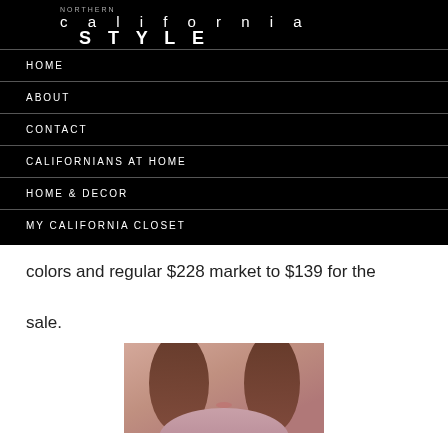NORTHERN california STYLE
HOME
ABOUT
CONTACT
CALIFORNIANS AT HOME
HOME & DECOR
MY CALIFORNIA CLOSET
colors and regular $228 market to $139 for the sale.
[Figure (photo): Woman wearing a pink/mauve coat or jacket, visible from shoulders up, with brown hair]